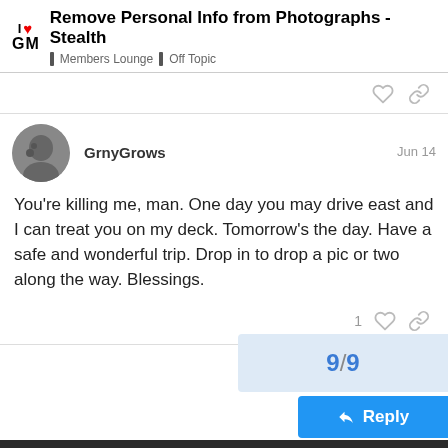I ♥ GM — Remove Personal Info from Photographs - Stealth | Members Lounge | Off Topic
GrnyGrows — Jun 14
You're killing me, man. One day you may drive east and I can treat you on my deck. Tomorrow's the day. Have a safe and wonderful trip. Drop in to drop a pic or two along the way. Blessings.
9 / 9
Reply